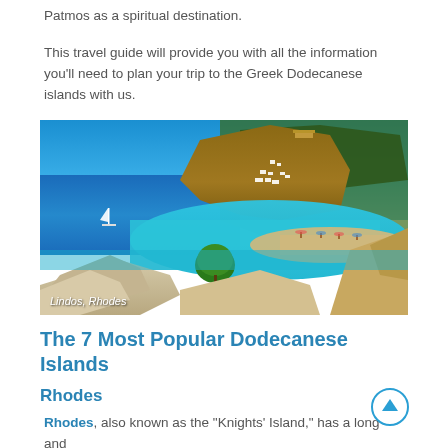Patmos as a spiritual destination.
This travel guide will provide you with all the information you'll need to plan your trip to the Greek Dodecanese islands with us.
[Figure (photo): Aerial/elevated view of Lindos, Rhodes - a curved bay with turquoise water, sandy beach, white buildings on a hillside with an acropolis, rocky foreground, sailboat visible on the blue sea.]
Lindos, Rhodes
The 7 Most Popular Dodecanese Islands
Rhodes
Rhodes, also known as the "Knights' Island," has a long and